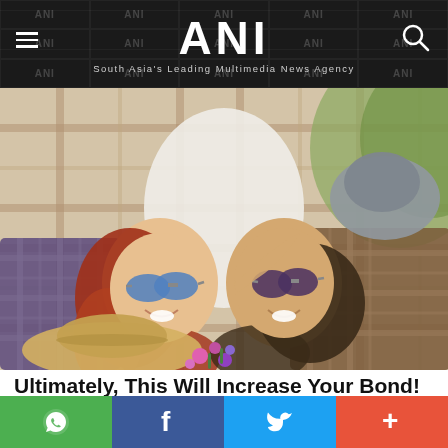ANI — South Asia's Leading Multimedia News Agency
[Figure (photo): Two young people lying on a plaid blanket outdoors, smiling, wearing sunglasses, with flowers and hats nearby]
Ultimately, This Will Increase Your Bond!
HERBEAUTY